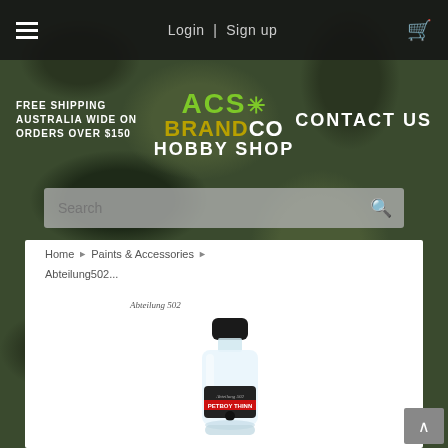Login | Sign up
FREE SHIPPING AUSTRALIA WIDE ON ORDERS OVER $150
CONTACT US
ACS BRANDCO HOBBY SHOP
Search
Home › Paints & Accessories › Abteilung502...
[Figure (photo): Abteilung 502 brand logo and a small clear glass bottle of hobby thinner product with black cap and red label]
Scroll to top arrow button